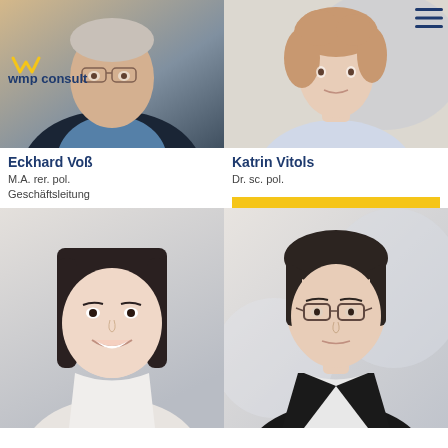[Figure (photo): Photo of Eckhard Voß, older man in blue shirt and dark jacket, with wmp consult logo overlay]
[Figure (photo): Photo of Katrin Vitols, woman with curly hair looking upward, hamburger menu icon in top right]
[Figure (logo): wmp consult logo with yellow checkmark/wave icon]
Eckhard Voß
M.A. rer. pol.
Geschäftsleitung
Contact
Katrin Vitols
Dr. sc. pol.
Contact
[Figure (photo): Photo of young woman with dark straight hair and bangs, smiling]
[Figure (photo): Photo of woman with glasses and short dark hair]